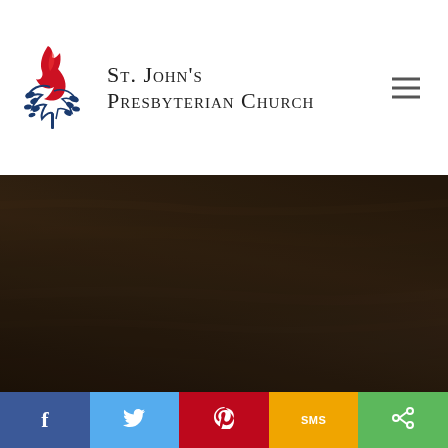[Figure (logo): St. John's Presbyterian Church logo with flame and tree/leaf emblem in red, white and blue]
St. John's Presbyterian Church
[Figure (photo): Dark close-up photo of wooden surface or architectural element, very dark brown tones]
©2018 St. John's Presbyterian Church   Administrator Login
[Figure (infographic): Social sharing bar with Facebook (blue), Twitter (light blue), Pinterest (red), SMS (gold/yellow), and Share (green) buttons]